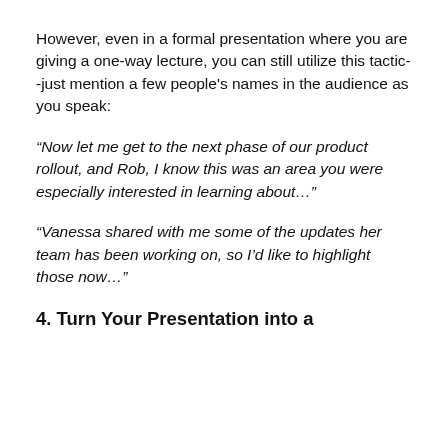However, even in a formal presentation where you are giving a one-way lecture, you can still utilize this tactic--just mention a few people's names in the audience as you speak:
“Now let me get to the next phase of our product rollout, and Rob, I know this was an area you were especially interested in learning about…”
“Vanessa shared with me some of the updates her team has been working on, so I’d like to highlight those now…”
4. Turn Your Presentation into a